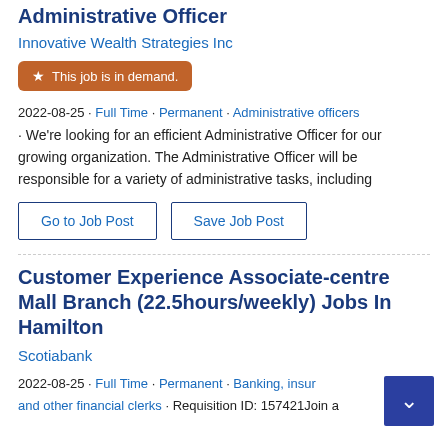Administrative Officer
Innovative Wealth Strategies Inc
This job is in demand.
2022-08-25 · Full Time · Permanent · Administrative officers · We're looking for an efficient Administrative Officer for our growing organization. The Administrative Officer will be responsible for a variety of administrative tasks, including
Go to Job Post
Save Job Post
Customer Experience Associate-centre Mall Branch (22.5hours/weekly) Jobs In Hamilton
Scotiabank
2022-08-25 · Full Time · Permanent · Banking, insur and other financial clerks · Requisition ID: 157421Join a